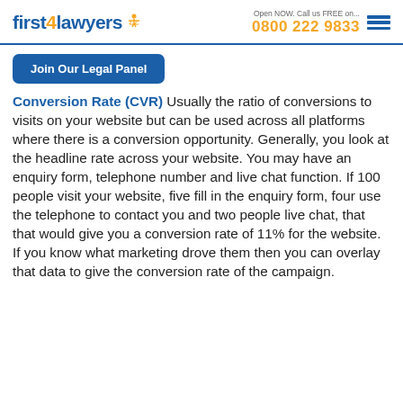first4lawyers | Open NOW. Call us FREE on... 0800 222 9833
Join Our Legal Panel
Conversion Rate (CVR) Usually the ratio of conversions to visits on your website but can be used across all platforms where there is a conversion opportunity. Generally, you look at the headline rate across your website. You may have an enquiry form, telephone number and live chat function. If 100 people visit your website, five fill in the enquiry form, four use the telephone to contact you and two people live chat, that that would give you a conversion rate of 11% for the website. If you know what marketing drove them then you can overlay that data to give the conversion rate of the campaign.